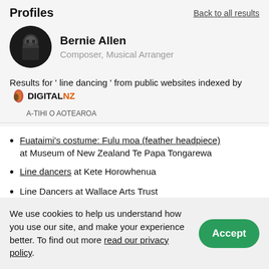Profiles
Back to all results
[Figure (photo): Circular profile photo of Bernie Allen, a man with glasses and beard in black and white]
Bernie Allen
Composer, Musical Arranger
Results for ' line dancing ' from public websites indexed by DIGITALNZ A-TIHI O AOTEAROA
Fuataimi's costume: Fulu moa (feather headpiece) at Museum of New Zealand Te Papa Tongarewa
Line dancers at Kete Horowhenua
Line Dancers at Wallace Arts Trust
We use cookies to help us understand how you use our site, and make your experience better. To find out more read our privacy policy.